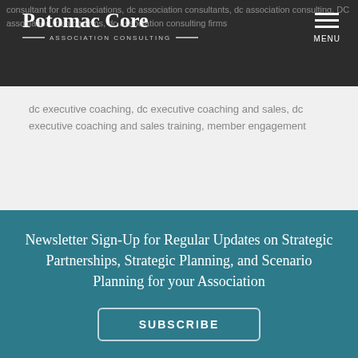Potomac Core — ASSOCIATION CONSULTING
consultant for dc associations, dc association consultants, dc association consulting, DC association training firms, dc association consulting firms, dc executive coaching, dc executive coaching and sales, dc executive coaching and sales training, member engagement
Newsletter Sign-Up for Regular Updates on Strategic Partnerships, Strategic Planning, and Scenario Planning for your Association
SUBSCRIBE